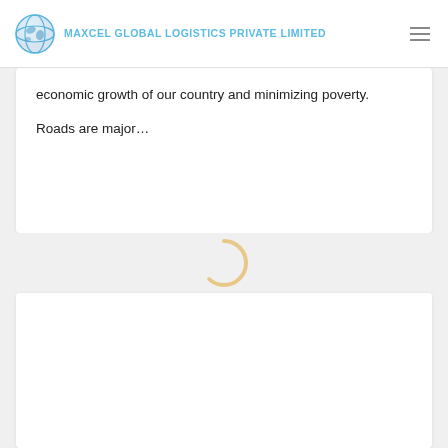MAXCEL GLOBAL LOGISTICS PRIVATE LIMITED
economic growth of our country and minimizing poverty. Roads are major…
[Figure (other): Loading spinner / circular progress indicator in light orange/yellow color]
[Figure (other): White content card area, blank/loading]